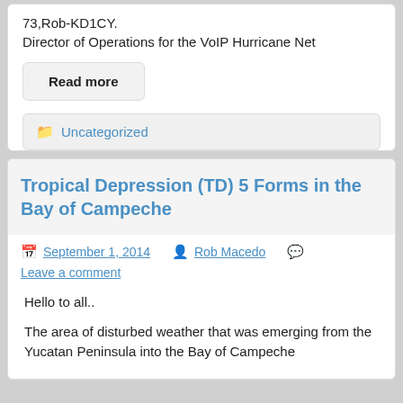73,Rob-KD1CY.
Director of Operations for the VoIP Hurricane Net
Read more
Uncategorized
Tropical Depression (TD) 5 Forms in the Bay of Campeche
September 1, 2014   Rob Macedo   Leave a comment
Hello to all..
The area of disturbed weather that was emerging from the Yucatan Peninsula into the Bay of Campeche